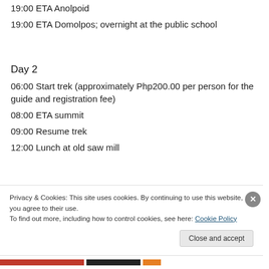19:00 ETA Anolpoid
19:00 ETA Domolpos; overnight at the public school
Day 2
06:00 Start trek (approximately Php200.00 per person for the guide and registration fee)
08:00 ETA summit
09:00 Resume trek
12:00 Lunch at old saw mill
Privacy & Cookies: This site uses cookies. By continuing to use this website, you agree to their use.
To find out more, including how to control cookies, see here: Cookie Policy